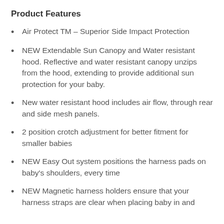Product Features
Air Protect TM – Superior Side Impact Protection
NEW Extendable Sun Canopy and Water resistant hood. Reflective and water resistant canopy unzips from the hood, extending to provide additional sun protection for your baby.
New water resistant hood includes air flow, through rear and side mesh panels.
2 position crotch adjustment for better fitment for smaller babies
NEW Easy Out system positions the harness pads on baby's shoulders, every time
NEW Magnetic harness holders ensure that your harness straps are clear when placing baby in and